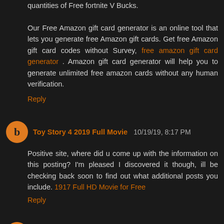quantities of Free fortnite V Bucks.

Our Free Amazon gift card generator is an online tool that lets you generate free Amazon gift cards. Get free Amazon gift card codes without Survey, free amazon gift card generator . Amazon gift card generator will help you to generate unlimited free amazon cards without any human verification.
Reply
Toy Story 4 2019 Full Movie  10/19/19, 8:17 PM
Positive site, where did u come up with the information on this posting? I'm pleased I discovered it though, ill be checking back soon to find out what additional posts you include. 1917 Full HD Movie for Free
Reply
Toy Story 4 2019 Full Movie  10/19/19, 8:17 PM
What a fantabulous post this has been. Never seen this